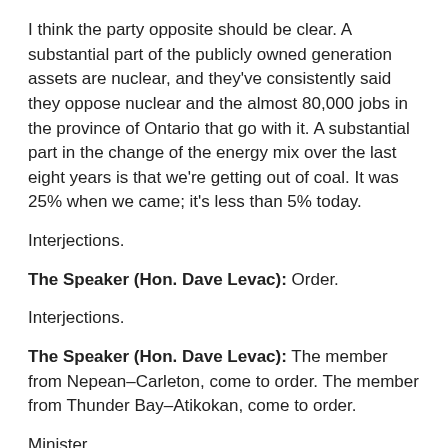I think the party opposite should be clear. A substantial part of the publicly owned generation assets are nuclear, and they've consistently said they oppose nuclear and the almost 80,000 jobs in the province of Ontario that go with it. A substantial part in the change of the energy mix over the last eight years is that we're getting out of coal. It was 25% when we came; it's less than 5% today.
Interjections.
The Speaker (Hon. Dave Levac): Order.
Interjections.
The Speaker (Hon. Dave Levac): The member from Nepean–Carleton, come to order. The member from Thunder Bay–Atikokan, come to order.
Minister.
Hon. Christopher Bentley: It was 25% when we started in